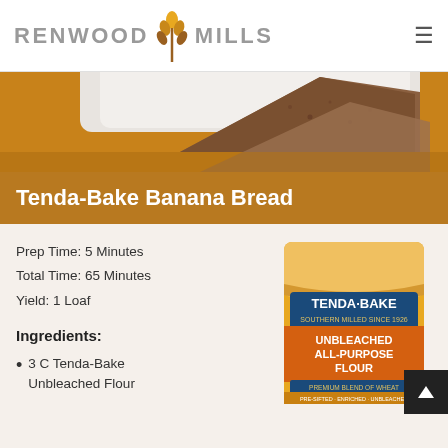RENWOOD MILLS
[Figure (photo): Close-up photo of banana bread slices on a white plate with a wooden surface background]
Tenda-Bake Banana Bread
Prep Time: 5 Minutes
Total Time: 65 Minutes
Yield: 1 Loaf
Ingredients:
3 C Tenda-Bake Unbleached Flour
[Figure (photo): Tenda-Bake Unbleached All-Purpose Flour bag product photo with orange label]